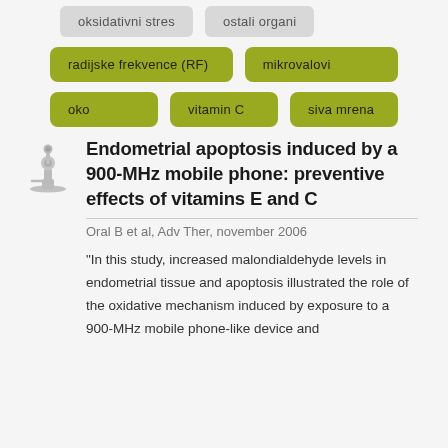oksidativni stres
ostali organi
radijske frekvence (RF)
mikrovalovi
oko
vitamin C
siva mrena
Endometrial apoptosis induced by a 900-MHz mobile phone: preventive effects of vitamins E and C
Oral B et al, Adv Ther, november 2006
"In this study, increased malondialdehyde levels in endometrial tissue and apoptosis illustrated the role of the oxidative mechanism induced by exposure to a 900-MHz mobile phone-like device and